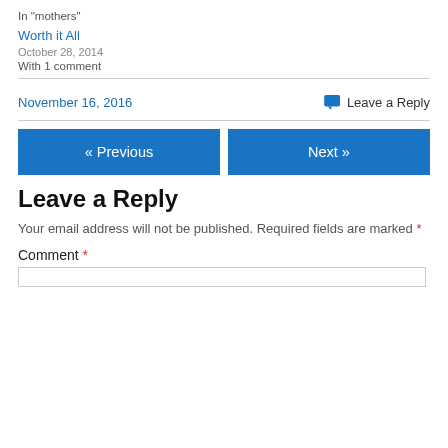In "mothers"
Worth it All
October 28, 2014
With 1 comment
November 16, 2016
Leave a Reply
« Previous
Next »
Leave a Reply
Your email address will not be published. Required fields are marked *
Comment *